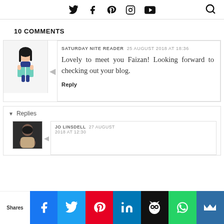Social media icons (Twitter, Facebook, Pinterest, Instagram, YouTube) and search icon
10 COMMENTS
SATURDAY NITE READER  25 AUGUST 2018 AT 18:36
Lovely to meet you Faizan! Looking forward to checking out your blog.
Reply
▼ Replies
JO LINSDELL  27 AUGUST 2018 AT 12:30
Shares | Facebook | Twitter | Pinterest | LinkedIn | Hootsuite | WhatsApp | Crown